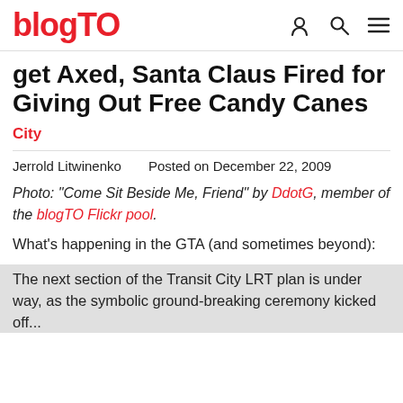blogTO
get Axed, Santa Claus Fired for Giving Out Free Candy Canes
City
Jerrold Litwinenko   Posted on December 22, 2009
Photo: "Come Sit Beside Me, Friend" by DdotG, member of the blogTO Flickr pool.
What's happening in the GTA (and sometimes beyond):
The next section of the Transit City LRT plan is under way, as the symbolic ground-breaking ceremony kicked off...